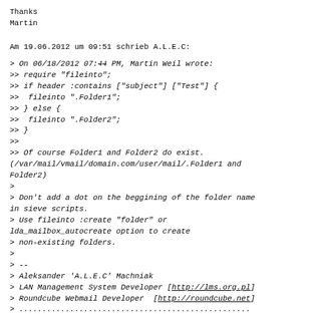Thanks
Martin
Am 19.06.2012 um 09:51 schrieb A.L.E.C:
> On 06/18/2012 07:44 PM, Martin Weil wrote:
>> require "fileinto";
>> if header :contains ["subject"] ["Test"] {
>>  fileinto ".Folder1";
>> } else {
>>  fileinto ".Folder2";
>> }
>>
>> Of course Folder1 and Folder2 do exist.
(/var/mail/vmail/domain.com/user/mail/.Folder1 and
Folder2)
>
> Don't add a dot on the beggining of the folder name
in sieve scripts.
> Use fileinto :create "folder" or
lda_mailbox_autocreate option to create
> non-existing folders.
>
> --
> Aleksander 'A.L.E.C' Machniak
> LAN Management System Developer [http://lms.org.pl]
> Roundcube Webmail Developer [http://roundcube.net]
> ..................................................